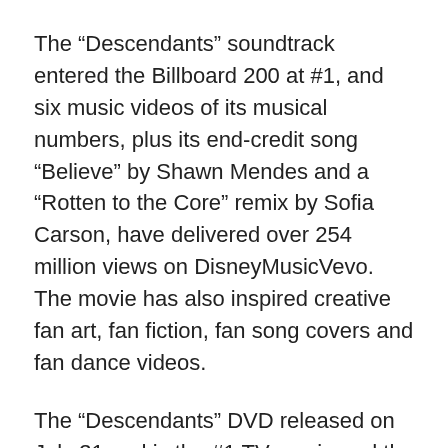The “Descendants” soundtrack entered the Billboard 200 at #1, and six music videos of its musical numbers, plus its end-credit song “Believe” by Shawn Mendes and a “Rotten to the Core” remix by Sofia Carson, have delivered over 254 million views on DisneyMusicVevo. The movie has also inspired creative fan art, fan fiction, fan song covers and fan dance videos.
The “Descendants” DVD released on July 31 and is the #1 TV movie and the third best-selling TV title on DVD, 2015 to-date.
Disney Consumer Products’ retailers include Walmart, Target, Toys R Us, Kohl’s, JCPenney, Amazon and Disney Store. The licensed line includes fashion dolls, apparel, accessories, role play/costumes, bedding, DIY beauty products and consumer electronics. Licensees are Hasbro,